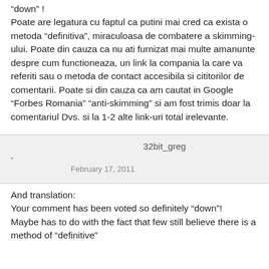“down” !
Poate are legatura cu faptul ca putini mai cred ca exista o metoda “definitiva”, miraculoasa de combatere a skimming-ului. Poate din cauza ca nu ati furnizat mai multe amanunte despre cum functioneaza, un link la compania la care va referiti sau o metoda de contact accesibila si cititorilor de comentarii. Poate si din cauza ca am cautat in Google “Forbes Romania” “anti-skimming” si am fost trimis doar la comentariul Dvs. si la 1-2 alte link-uri total irelevante.
32bit_greg
-
February 17, 2011
And translation:
Your comment has been voted so definitely “down”!
Maybe has to do with the fact that few still believe there is a method of “definitive”